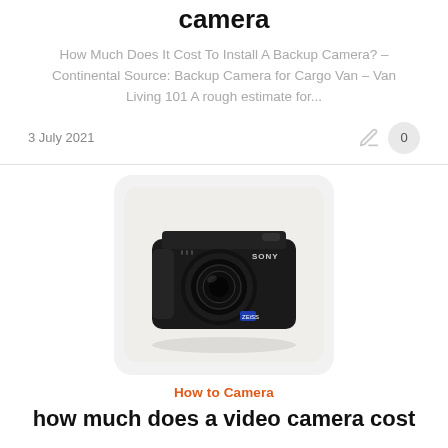camera
How Much Does It Cost To Install A Backup Camera? – Continental Source: Backup Camera for Cargo Van – Van Living 101 A rough estimate for...
3 July 2021
[Figure (photo): Sony compact digital camera on a light gray background]
How to Camera
how much does a video camera cost